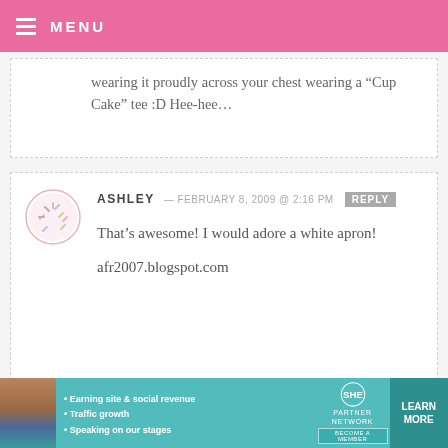MENU
wearing it proudly across your chest wearing a “Cup Cake” tee :D Hee-hee…
ASHLEY — FEBRUARY 8, 2009 @ 2:16 PM  REPLY
That’s awesome! I would adore a white apron!
afr2007.blogspot.com
BREE — FEBRUARY 8, 2009 @ 2:16 PM  REPLY
[Figure (infographic): SHE Partner Network advertisement banner with photo, bullet points, logo and Learn More button]